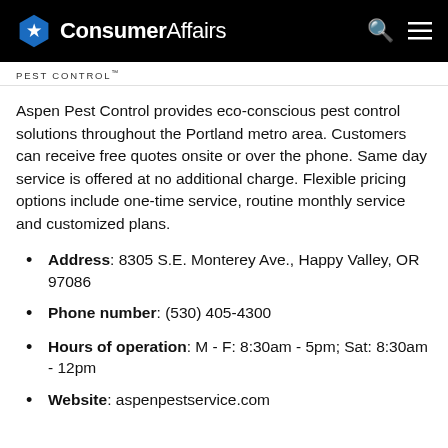ConsumerAffairs
PEST CONTROL
Aspen Pest Control provides eco-conscious pest control solutions throughout the Portland metro area. Customers can receive free quotes onsite or over the phone. Same day service is offered at no additional charge. Flexible pricing options include one-time service, routine monthly service and customized plans.
Address: 8305 S.E. Monterey Ave., Happy Valley, OR 97086
Phone number: (530) 405-4300
Hours of operation: M - F: 8:30am - 5pm; Sat: 8:30am - 12pm
Website: aspenpestservice.com